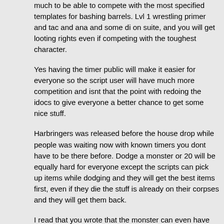much to be able to compete with the most specified templates for bashing barrels. Lvl 1 wrestling primer and tac and ana and some di on suite, and you will get looting rights even if competing with the toughest character.
Yes having the timer public will make it easier for everyone so the script user will have much more competition and isnt that the point with redoing the idocs to give everyone a better chance to get some nice stuff.
Harbringers was released before the house drop while people was waiting now with known timers you dont have to be there before. Dodge a monster or 20 will be equally hard for everyone except the scripts can pick up items while dodging and they will get the best items first, even if they die the stuff is already on their corpses and they will get them back.
I read that you wrote that the monster can even have some loot on there corpses missed the part of all but then you're back with your problem at killing barrels only the top damager will get loot from monster so I dont see what difference this will make?